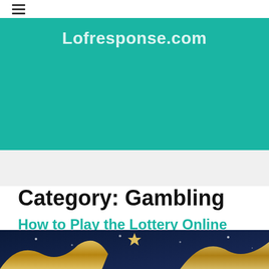≡
[Figure (screenshot): Teal/green banner with website title text 'Lofresponse.com' in white bold font]
Category: Gambling
How to Play the Lottery Online
Posted on August 19, 2022 by Admin
[Figure (photo): Partial view of a lottery-themed image with golden ribbons and stars on dark blue background]